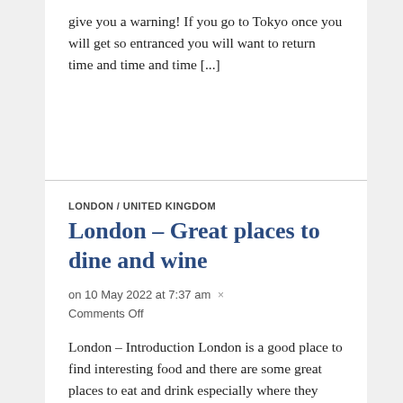give you a warning! If you go to Tokyo once you will get so entranced you will want to return time and time and time [...]
LONDON / UNITED KINGDOM
London – Great places to dine and wine
on 10 May 2022 at 7:37 am × Comments Off
London – Introduction London is a good place to find interesting food and there are some great places to eat and drink especially where they have embraced natural wine. There are restaurants in every quarter of the city of London but we usually stick to the eastern part of the [...]